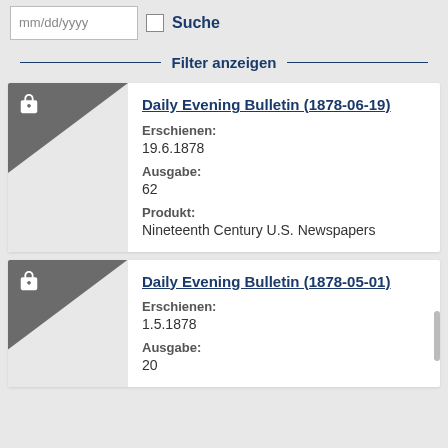mm/dd/yyyy
Suche
Filter anzeigen
Daily Evening Bulletin (1878-06-19)
Erschienen: 19.6.1878
Ausgabe: 62
Produkt: Nineteenth Century U.S. Newspapers
Daily Evening Bulletin (1878-05-01)
Erschienen: 1.5.1878
Ausgabe: 20